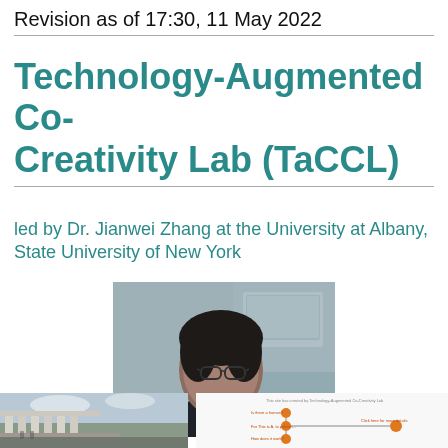Revision as of 17:30, 11 May 2022
Technology-Augmented Co-Creativity Lab (TaCCL)
led by Dr. Jianwei Zhang at the University at Albany, State University of New York
[Figure (photo): Portrait photo of Dr. Jianwei Zhang, a man with glasses, dark hair, wearing a dark jacket, with a computer screen visible in the background]
[Figure (photo): Photo of a university building exterior with columns, outdoor plaza, cloudy sky]
[Figure (flowchart): A flowchart or diagram on a white slide background with colored nodes and arrows, text partially visible]